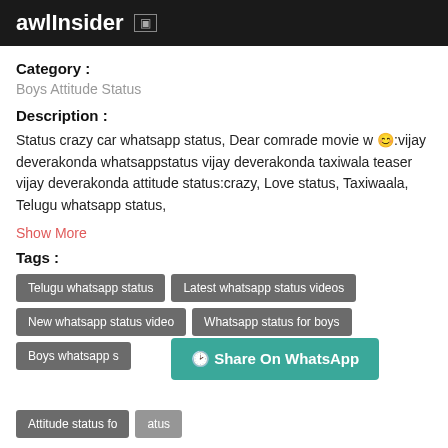awlInsider
Category :
Boys Attitude Status
Description :
Status crazy car whatsapp status, Dear comrade movie w 😊:vijay deverakonda whatsappstatus vijay deverakonda taxiwala teaser vijay deverakonda attitude status:crazy, Love status, Taxiwaala, Telugu whatsapp status,
Show More
Tags :
Telugu whatsapp status
Latest whatsapp status videos
New whatsapp status video
Whatsapp status for boys
Boys whatsapp s
Attitude status fo
Share On WhatsApp